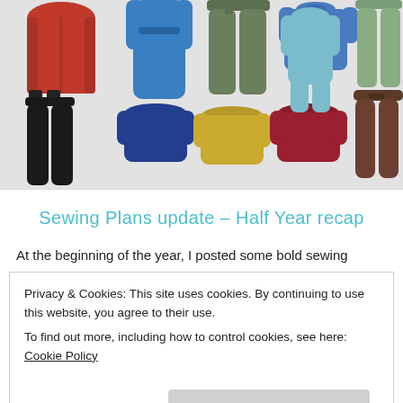[Figure (illustration): Collection of illustrated clothing items on a light grey background: red top, blue scrubs/jumpsuit, dark olive/green trousers, blue long-sleeve shirt, green trousers, black skinny trousers, blue cropped sweater, yellow/gold cropped sweater, dark red/burgundy cropped sweater, teal onesie/pajama set, brown jogger trousers]
Sewing Plans update – Half Year recap
At the beginning of the year, I posted some bold sewing
Privacy & Cookies: This site uses cookies. By continuing to use this website, you agree to their use.
To find out more, including how to control cookies, see here: Cookie Policy
Close and accept